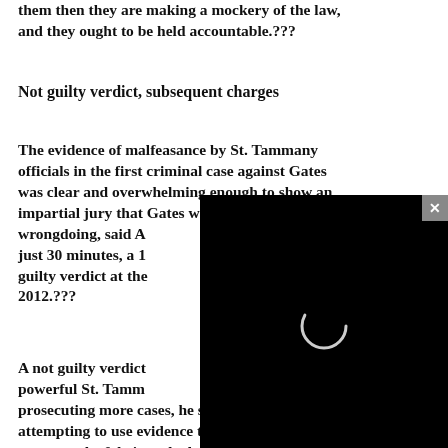them then they are making a mockery of the law, and they ought to be held accountable.???
Not guilty verdict, subsequent charges
The evidence of malfeasance by St. Tammany officials in the first criminal case against Gates was clear and overwhelming enough to show an impartial jury that Gates was innocent of wrongdoing, said A… just 30 minutes, a 1… guilty verdict at the… 2012.???
A not guilty verdict… powerful St. Tamm… prosecuting more cases, he said. ???Noriea is attempting to use evidence that has already been proven to be fabricated, altered or destroyed from the first trial in the second trial against Gates.???
[Figure (screenshot): Black video player overlay with a circular loading spinner and a close (x) button in the top-right corner]